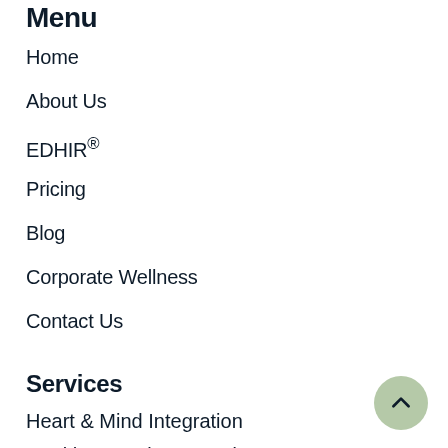Menu
Home
About Us
EDHIR®
Pricing
Blog
Corporate Wellness
Contact Us
Services
Heart & Mind Integration
Health Consult-Ayurveda